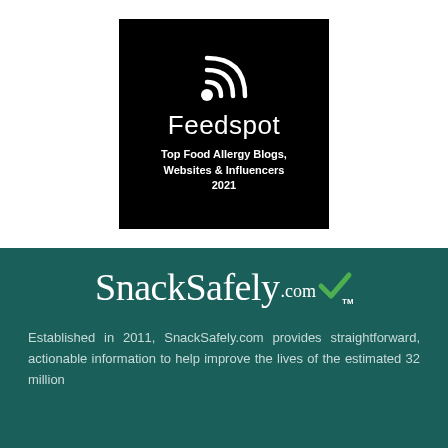[Figure (logo): Feedspot badge on black background with RSS icon, text reading 'Feedspot Top Food Allergy Blogs, Websites & Influencers 2021']
[Figure (logo): SnackSafely.com logo in white serif font with green checkmark and TM symbol on dark teal background]
Established in 2011, SnackSafely.com provides straightforward, actionable information to help improve the lives of the estimated 32 million